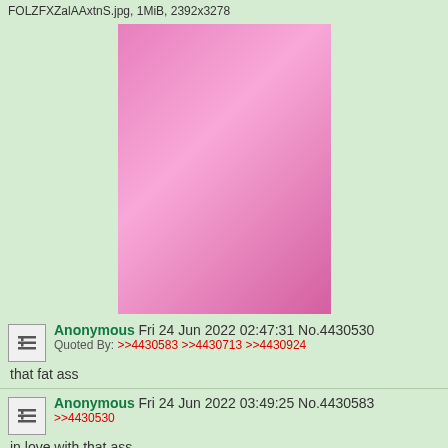FOLZFXZalAAxtnS.jpg, 1MiB, 2392x3278
[Figure (photo): Photo of a person posing on a pink background]
Anonymous Fri 24 Jun 2022 02:47:31 No.4430530
Quoted By: >>4430583 >>4430713 >>4430924
that fat ass
Anonymous Fri 24 Jun 2022 03:49:25 No.4430583
>>4430530
in love with that ass
5662C2DC-82CA-4DA9-8CD5-8F024D32 (...).jpg, 274KiB, 1080x1215
[Figure (photo): Photo of a person with blue hair sitting outdoors]